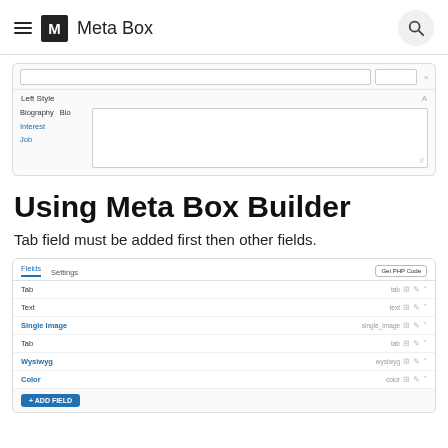Meta Box
[Figure (screenshot): Left Style UI panel showing Biography, Bio text, Interest and Job fields with a textarea]
Using Meta Box Builder
Tab field must be added first then other fields.
[Figure (screenshot): Meta Box Builder interface showing Fields and Settings tabs, with rows: Tab (tab), Text (text), Single Image (single_image), Tab (tab), Wysiwyg (wysiwyg), Color (color), and an Add Fields button]